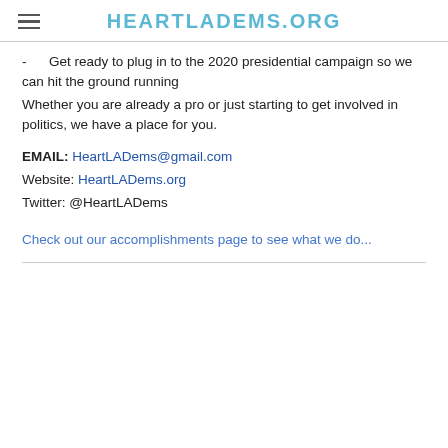HEARTLADEMS.ORG
- Get ready to plug in to the 2020 presidential campaign so we can hit the ground running
Whether you are already a pro or just starting to get involved in politics, we have a place for you.
EMAIL: HeartLADems@gmail.com
Website: HeartLADems.org
Twitter: @HeartLADems
Check out our accomplishments page to see what we do...